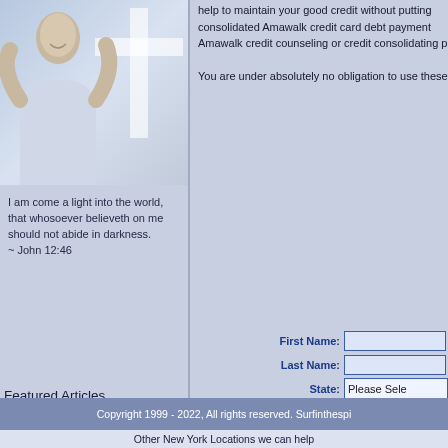[Figure (photo): Photo of a person with arms raised, overlaid with a white cross shape on a light blue/grey gradient background]
I am come a light into the world, that whosoever believeth on me should not abide in darkness.
~ John 12:46
Featured Articles
help to maintain your good credit without putting consolidated Amawalk credit card debt payment Amawalk credit counseling or credit consolidating
You are under absolutely no obligation to use these
| Label | Input |
| --- | --- |
| First Name: |  |
| Last Name: |  |
| State: | Please Sele |
| E-mail: |  |
| Home Phone: |  |
| Work Phone: |  |
| Unsecured Debt: | Please Sele |
| Payments are? | Up-to-date |
| Best To Call: | Anytime |
|  | Submit Appl |
Copyright 1999 - 2022, All rights reserved. Surfinthespi
Other New York Locations we can help